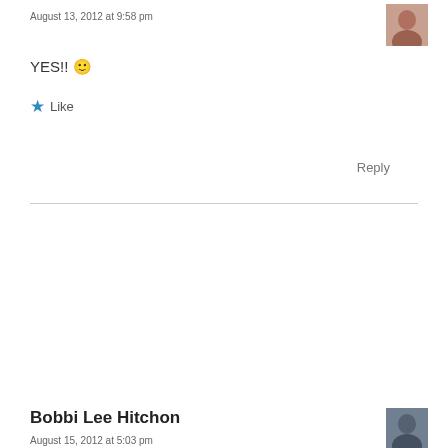August 13, 2012 at 9:58 pm
YES!! 🙂
★ Like
Reply
Bobbi Lee Hitchon
August 15, 2012 at 5:03 pm
I love everything about this post! Well done on getting confident and getting naked!
★ Like
Reply